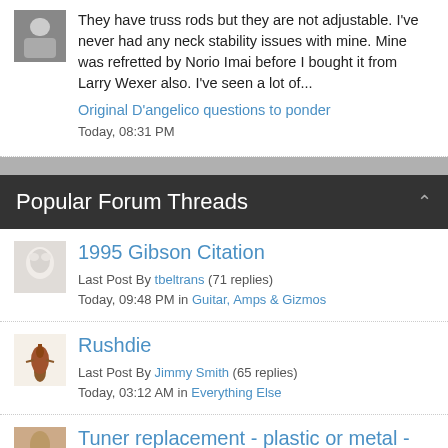They have truss rods but they are not adjustable. I've never had any neck stability issues with mine. Mine was refretted by Norio Imai before I bought it from Larry Wexer also. I've seen a lot of...
Original D'angelico questions to ponder
Today, 08:31 PM
Popular Forum Threads
1995 Gibson Citation
Last Post By tbeltrans (71 replies)
Today, 09:48 PM in Guitar, Amps & Gizmos
Rushdie
Last Post By Jimmy Smith (65 replies)
Today, 03:12 AM in Everything Else
Tuner replacement - plastic or metal - impact on...